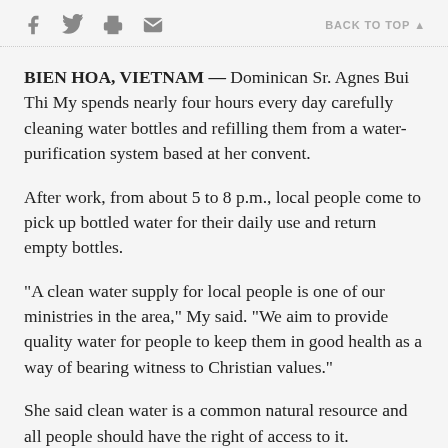f [twitter] [print] [email]   BACK TO TOP ▲
BIEN HOA, VIETNAM — Dominican Sr. Agnes Bui Thi My spends nearly four hours every day carefully cleaning water bottles and refilling them from a water-purification system based at her convent.
After work, from about 5 to 8 p.m., local people come to pick up bottled water for their daily use and return empty bottles.
"A clean water supply for local people is one of our ministries in the area," My said. "We aim to provide quality water for people to keep them in good health as a way of bearing witness to Christian values."
She said clean water is a common natural resource and all people should have the right of access to it.
She said water from wells is often adulterated with